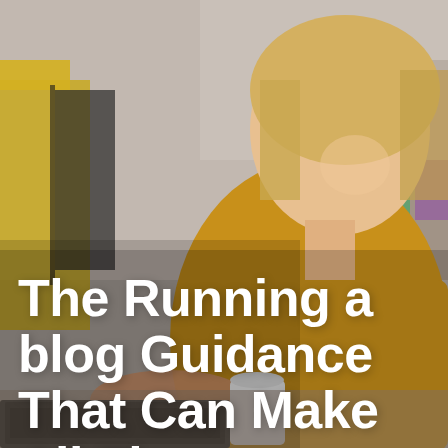[Figure (photo): A smiling blonde woman wearing a yellow/mustard shirt, sitting at a laptop and holding a white coffee cup. The background shows a blurred retail or cafe environment with yellow shelving and colorful items.]
The Running a blog Guidance That Can Make All The Difference